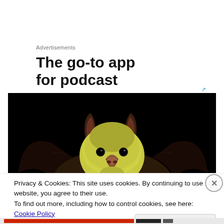Advertisements
The go-to app for podcast
[Figure (photo): Close-up photograph of a bat face against a black background. The bat has yellowish-green fur on its face, large ears, and a distinctive nose. Wings are partially visible.]
Privacy & Cookies: This site uses cookies. By continuing to use this website, you agree to their use.
To find out more, including how to control cookies, see here: Cookie Policy
Close and accept